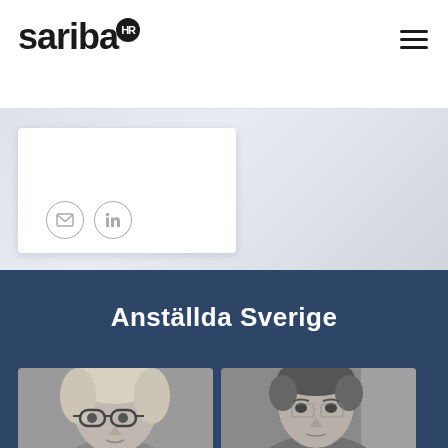[Figure (logo): Sariba HR logo with black bold text 'sariba' and a circular badge with 'HR' in white on black background]
[Figure (screenshot): Light gray gradient background section with white profile card showing email and LinkedIn circular social icons at bottom left]
Anställda Sverige
[Figure (photo): Two black and white headshot photos side by side at bottom: left shows a woman with glasses and light hair, right shows a man looking slightly downward]